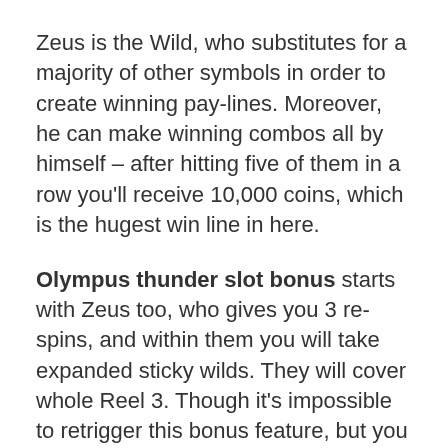Zeus is the Wild, who substitutes for a majority of other symbols in order to create winning pay-lines. Moreover, he can make winning combos all by himself – after hitting five of them in a row you'll receive 10,000 coins, which is the hugest win line in here.
Olympus thunder slot bonus starts with Zeus too, who gives you 3 re-spins, and within them you will take expanded sticky wilds. They will cover whole Reel 3. Though it's impossible to retrigger this bonus feature, but you have a chance to win huge prizes while it's on.
Conclusion
Before you start to play Olympus Thunder slot for